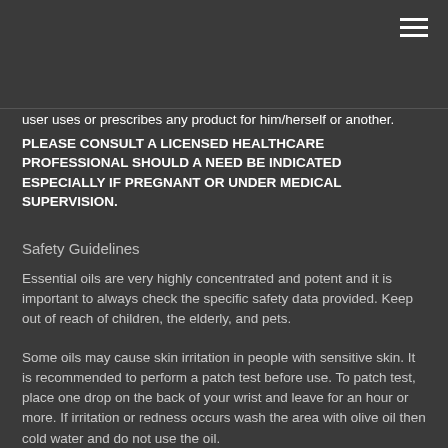user uses or prescribes any product for him/herself or another. PLEASE CONSULT A LICENSED HEALTHCARE PROFESSIONAL SHOULD A NEED BE INDICATED ESPECIALLY IF PREGNANT OR UNDER MEDICAL SUPERVISION.
Safety Guidelines
Essential oils are very highly concentrated and potent and it is important to always check the specific safety data provided. Keep out of reach of children, the elderly, and pets.
Some oils may cause skin irritation in people with sensitive skin. It is recommended to perform a patch test before use. To patch test, place one drop on the back of your wrist and leave for an hour or more. If irritation or redness occurs wash the area with olive oil then cold water and do not use the oil.